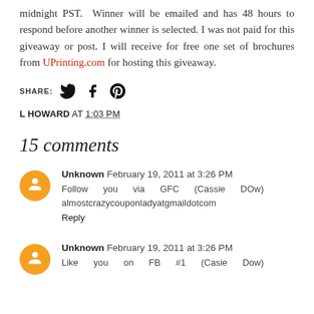midnight PST. Winner will be emailed and has 48 hours to respond before another winner is selected. I was not paid for this giveaway or post. I will receive for free one set of brochures from UPrinting.com for hosting this giveaway.
SHARE:
L HOWARD AT 1:03 PM
15 comments
Unknown February 19, 2011 at 3:26 PM
Follow you via GFC (Cassie DOw) almostcrazycouponladyatgmaildotcom
Reply
Unknown February 19, 2011 at 3:26 PM
Like you on FB #1 (Casie Dow)